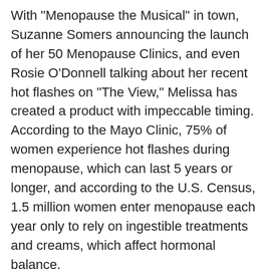With "Menopause the Musical" in town, Suzanne Somers announcing the launch of her 50 Menopause Clinics, and even Rosie O'Donnell talking about her recent hot flashes on "The View," Melissa has created a product with impeccable timing. According to the Mayo Clinic, 75% of women experience hot flashes during menopause, which can last 5 years or longer, and according to the U.S. Census, 1.5 million women enter menopause each year only to rely on ingestible treatments and creams, which affect hormonal balance.
“Verita` is perfectly engineered to be an effective solution to hot flashes,” according to Verita` Chemists. “The active raw material has undergone extensive in vivo efficacy testing and skin ion level analysis, proving its capability to cool and rehydrate the skin, restoring thermal balance to the skin’s